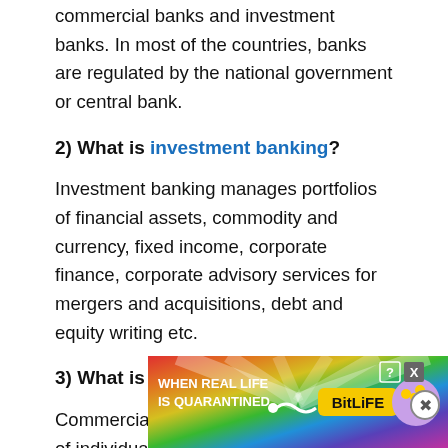commercial banks and investment banks. In most of the countries, banks are regulated by the national government or central bank.
2) What is investment banking?
Investment banking manages portfolios of financial assets, commodity and currency, fixed income, corporate finance, corporate advisory services for mergers and acquisitions, debt and equity writing etc.
3) What is commercial bank?
Commercial bank is owned by the group of individuals or by a member of Federal Reserve System. The commercial bank offer services to
[Figure (infographic): Advertisement banner: 'WHEN REAL LIFE IS QUARANTINED' BitLife app advertisement with colorful rainbow background and cartoon characters]